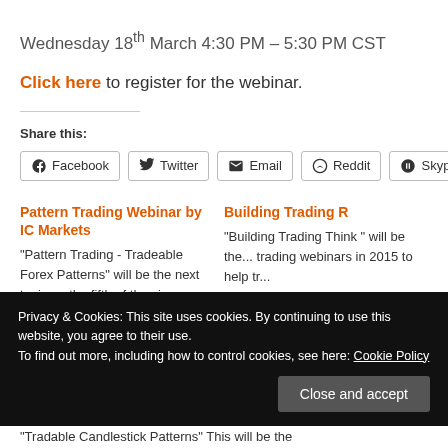Wednesday 18th March 4:30 PM – 5:30 PM CST
Click here to register for the webinar.
Share this:
Facebook | Twitter | Email | Reddit | Skype | P...
Pattern Trading Webinar by IC Markets
"Pattern Trading - Tradeable Forex Patterns" will be the next topic on the fifth of the six technical trading webinars that will be held in 2015 by IC Markets to help traders expand their knowledge
Building Trading R...
"Building Trading Think " will be the... trading webinars in 2015 to help tr...
Privacy & Cookies: This site uses cookies. By continuing to use this website, you agree to their use. To find out more, including how to control cookies, see here: Cookie Policy
"Tradable Candlestick Patterns" This will be the